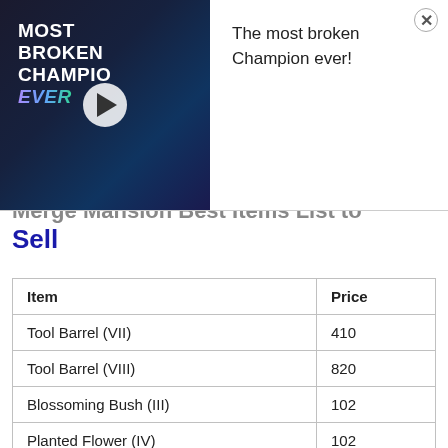[Figure (screenshot): Video ad thumbnail with dark blue gradient background showing 'MOST BROKEN CHAMPION EVER' text and a play button, with a character illustration visible on the right side.]
The most broken Champion ever!
Merge Mansion Best Items List to Sell
| Item | Price |
| --- | --- |
| Tool Barrel (VII) | 410 |
| Tool Barrel (VIII) | 820 |
| Blossoming Bush (III) | 102 |
| Planted Flower (IV) | 102 |
| Planted Flower (V) | 205 |
| Big Pile of Cash | 410 |
| Mansion Gate | 820 |